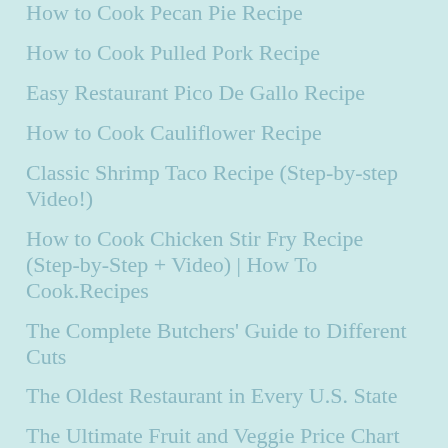How to Cook Pecan Pie Recipe
How to Cook Pulled Pork Recipe
Easy Restaurant Pico De Gallo Recipe
How to Cook Cauliflower Recipe
Classic Shrimp Taco Recipe (Step-by-step Video!)
How to Cook Chicken Stir Fry Recipe (Step-by-Step + Video) | How To Cook.Recipes
The Complete Butchers' Guide to Different Cuts
The Oldest Restaurant in Every U.S. State
The Ultimate Fruit and Veggie Price Chart
How to Cook Mexican Rice Recipe
How To Cook Recipes 2